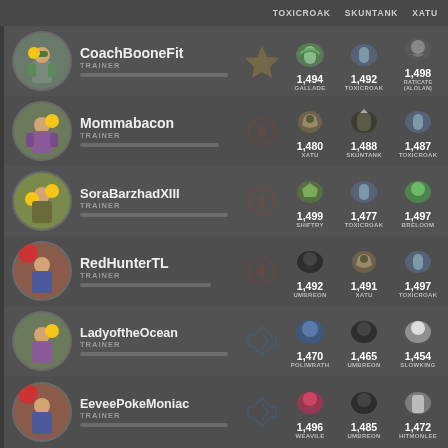TOXICROAK  SKUNTANK  XATU
CoachBooneFit TRAINER — 1,494 GALLADE | 1,492 TOXICROAK | 1,498 RATICATE (ALOLAN)
Mommabacon TRAINER — 1,480 XATU | 1,488 SKUNTANK | 1,487 TOXICROAK
SoraBarzhadXIII TRAINER — 1,499 SHIFTRY | 1,477 TOXICROAK | 1,497 BRELOOM
RedHunterTL TRAINER — 1,492 UMBREON | 1,491 XATU | 1,497 TOXICROAK
LadyoftheOcean TRAINER — 1,470 POLIWRATH | 1,465 UMBREON | 1,454 SLOWKING
EeveePokeMoniac TRAINER — 1,496 WEAVILE | 1,485 UMBREON | 1,472 HITMONLEE